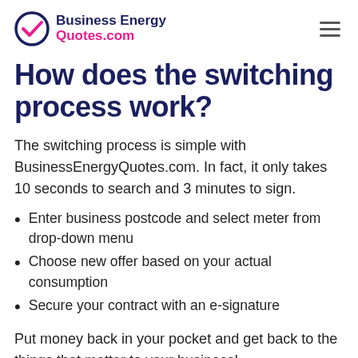Business Energy Quotes.com
How does the switching process work?
The switching process is simple with BusinessEnergyQuotes.com. In fact, it only takes 10 seconds to search and 3 minutes to sign.
Enter business postcode and select meter from drop-down menu
Choose new offer based on your actual consumption
Secure your contract with an e-signature
Put money back in your pocket and get back to the things that matter to your business!